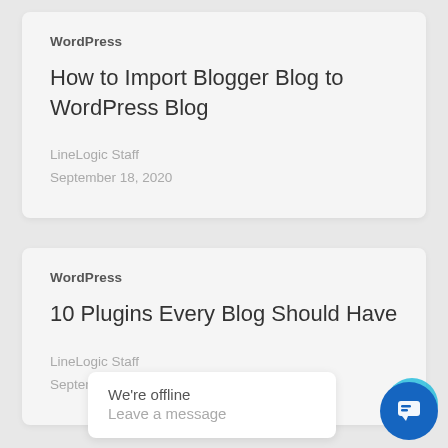WordPress
How to Import Blogger Blog to WordPress Blog
LineLogic Staff
September 18, 2020
WordPress
10 Plugins Every Blog Should Have
LineLogic Staff
September 18, 2020
We're offline
Leave a message